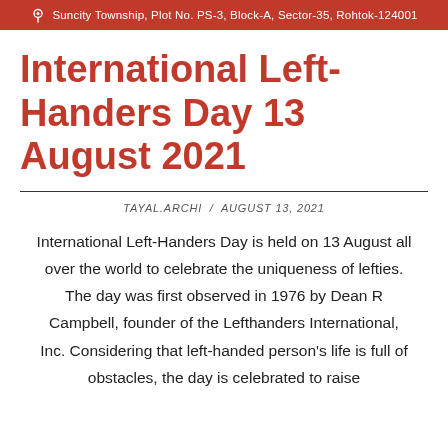Suncity Township, Plot No. PS-3, Block-A, Sector-35, Rohtok-124001
International Left-Handers Day 13 August 2021
TAYAL.ARCHI  /  AUGUST 13, 2021
International Left-Handers Day is held on 13 August all over the world to celebrate the uniqueness of lefties. The day was first observed in 1976 by Dean R Campbell, founder of the Lefthanders International, Inc. Considering that left-handed person's life is full of obstacles, the day is celebrated to raise